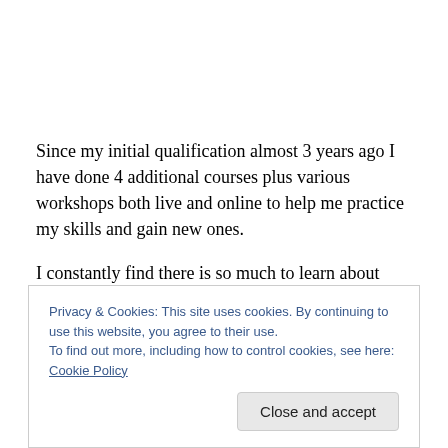Since my initial qualification almost 3 years ago I have done 4 additional courses plus various workshops both live and online to help me practice my skills and gain new ones.
I constantly find there is so much to learn about indoor cycling. Now I just have to work on learning how to convey
Privacy & Cookies: This site uses cookies. By continuing to use this website, you agree to their use.
To find out more, including how to control cookies, see here: Cookie Policy